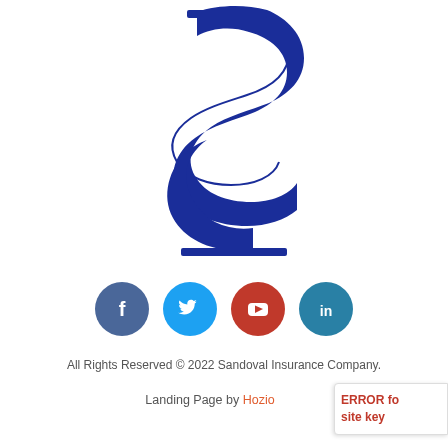[Figure (logo): Sandoval Insurance Company logo — large stylized blue 'S' and 'J' letters interlocked, dark navy/royal blue, with a serif font style]
[Figure (infographic): Row of four social media icon circles: Facebook (dark blue), Twitter (light blue), YouTube (red), LinkedIn (teal/dark cyan)]
All Rights Reserved © 2022 Sandoval Insurance Company.
Landing Page by Hozio
ERROR for site key